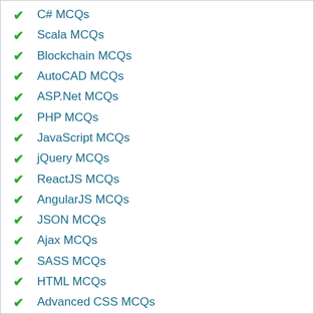C# MCQs
Scala MCQs
Blockchain MCQs
AutoCAD MCQs
ASP.Net MCQs
PHP MCQs
JavaScript MCQs
jQuery MCQs
ReactJS MCQs
AngularJS MCQs
JSON MCQs
Ajax MCQs
SASS MCQs
HTML MCQs
Advanced CSS MCQs
CSS MCQs
OOPs MCQs
PL/SQL MCQs
SQL MCQs